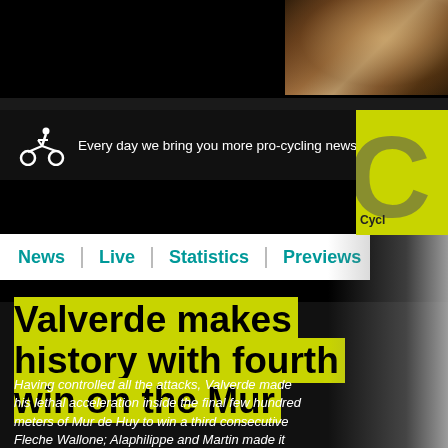[Figure (screenshot): Top banner area with advertisement showing a bed/bedroom image in brown tones]
Every day we bring you more pro-cycling news
[Figure (logo): Cyclist logo icon on left of header bar, and CyclingNews circular logo on the right]
News | Live | Statistics | Previews
Valverde makes history with fourth win on the Mur
Having controlled all the attacks, Valverde made his lethal acceleration inside the final few hundred meters of Mur de Huy to win a third consecutive Fleche Wallone; Alaphilippe and Martin made it two Etixx-QuickStep riders on the podium